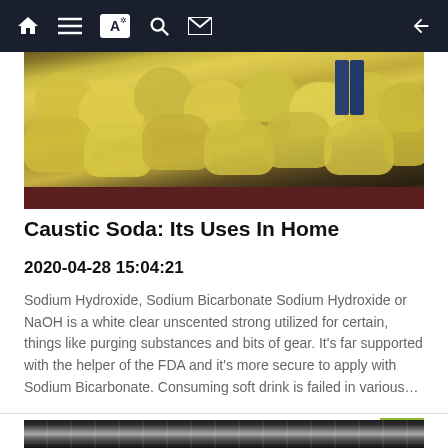Navigation bar with home, list, translate, search, mail icons and back arrow
[Figure (photo): Photo of yellow bags of caustic soda being loaded on a flatbed truck by workers]
Caustic Soda: Its Uses In Home
2020-04-28 15:04:21
Sodium Hydroxide, Sodium Bicarbonate Sodium Hydroxide or NaOH is a white clear unscented strong utilized for certain, things like purging substances and bits of gear. It's far supported with the helper of the FDA and it's more secure to apply with Sodium Bicarbonate. Consuming soft drink is failed in various…
Read more
[Figure (photo): Black and white photo of a warehouse interior showing roof structure]